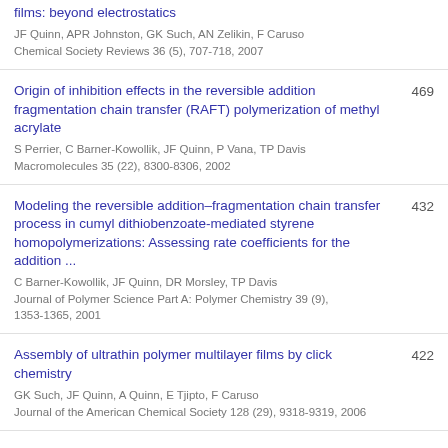films: beyond electrostatics — JF Quinn, APR Johnston, GK Such, AN Zelikin, F Caruso — Chemical Society Reviews 36 (5), 707-718, 2007
Origin of inhibition effects in the reversible addition fragmentation chain transfer (RAFT) polymerization of methyl acrylate — S Perrier, C Barner-Kowollik, JF Quinn, P Vana, TP Davis — Macromolecules 35 (22), 8300-8306, 2002 — 469
Modeling the reversible addition–fragmentation chain transfer process in cumyl dithiobenzoate-mediated styrene homopolymerizations: Assessing rate coefficients for the addition ... — C Barner-Kowollik, JF Quinn, DR Morsley, TP Davis — Journal of Polymer Science Part A: Polymer Chemistry 39 (9), 1353-1365, 2001 — 432
Assembly of ultrathin polymer multilayer films by click chemistry — GK Such, JF Quinn, A Quinn, E Tjipto, F Caruso — Journal of the American Chemical Society 128 (29), 9318-9319, 2006 — 422